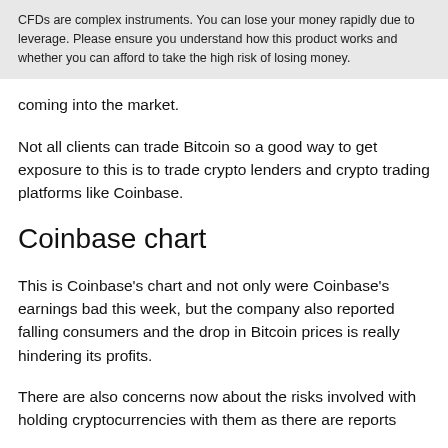CFDs are complex instruments. You can lose your money rapidly due to leverage. Please ensure you understand how this product works and whether you can afford to take the high risk of losing money.
coming into the market.
Not all clients can trade Bitcoin so a good way to get exposure to this is to trade crypto lenders and crypto trading platforms like Coinbase.
Coinbase chart
This is Coinbase's chart and not only were Coinbase's earnings bad this week, but the company also reported falling consumers and the drop in Bitcoin prices is really hindering its profits.
There are also concerns now about the risks involved with holding cryptocurrencies with them as there are reports